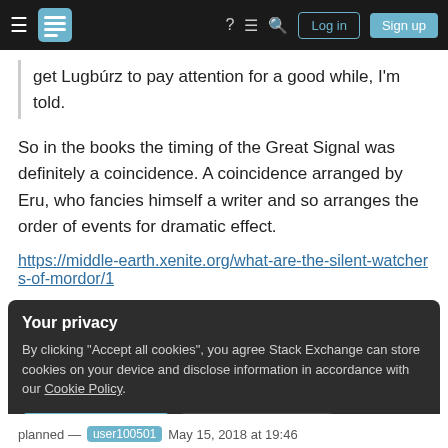Stack Exchange navigation bar with Log in and Sign up buttons
get Lugbúrz to pay attention for a good while, I'm told.
So in the books the timing of the Great Signal was definitely a coincidence. A coincidence arranged by Eru, who fancies himself a writer and so arranges the order of events for dramatic effect.
https://middle-earth.xenite.org/what-are-the-silent-watchers-of-mordor/1
Your privacy
By clicking "Accept all cookies", you agree Stack Exchange can store cookies on your device and disclose information in accordance with our Cookie Policy.
Accept all cookies  Customize settings
planned — user100501  May 15, 2018 at 19:46